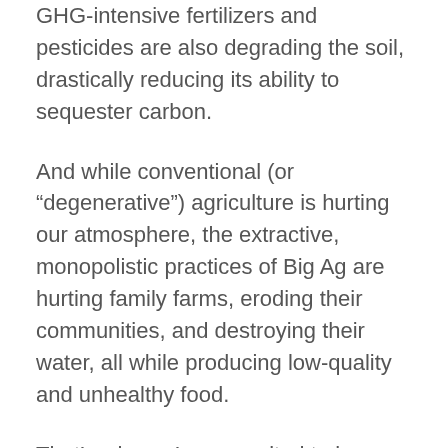GHG-intensive fertilizers and pesticides are also degrading the soil, drastically reducing its ability to sequester carbon.
And while conventional (or “degenerative”) agriculture is hurting our atmosphere, the extractive, monopolistic practices of Big Ag are hurting family farms, eroding their communities, and destroying their water, all while producing low-quality and unhealthy food.
That’s why we’re so excited to be working with regenerative farmers and ranchers in Nebraska who are pioneering small-scale, sustainable practices, while linking their efforts to the struggle for food justice in marginalized communities in cities like